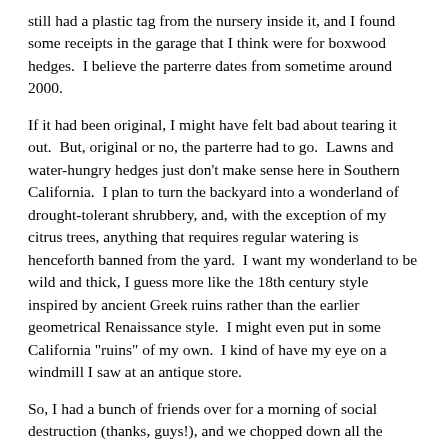still had a plastic tag from the nursery inside it, and I found some receipts in the garage that I think were for boxwood hedges.  I believe the parterre dates from sometime around 2000.
If it had been original, I might have felt bad about tearing it out.  But, original or no, the parterre had to go.  Lawns and water-hungry hedges just don't make sense here in Southern California.  I plan to turn the backyard into a wonderland of drought-tolerant shrubbery, and, with the exception of my citrus trees, anything that requires regular watering is henceforth banned from the yard.  I want my wonderland to be wild and thick, I guess more like the 18th century style inspired by ancient Greek ruins rather than the earlier geometrical Renaissance style.  I might even put in some California "ruins" of my own.  I kind of have my eye on a windmill I saw at an antique store.
So, I had a bunch of friends over for a morning of social destruction (thanks, guys!), and we chopped down all the boxwood hedges and dug out all the roots.  We also trimmed up the rest of the yard, which was badly overgrown.  I kept the palo verde tree, the sage clump, and the baby citrus trees.  I'll redistribute the gravel into a new path through my wonderland of shrubbery.